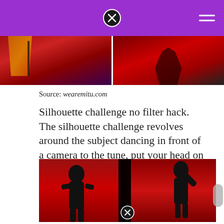[Figure (photo): Two side-by-side photos at the top — left shows a figure in red outfit, right shows a figure in dark red/black silhouette style, both with a purple background hint]
Source: wearemitu.com
Silhouette challenge no filter hack. The silhouette challenge revolves around the subject dancing in front of a camera to the tune, put your head on my shoulder, by the platters.
[Figure (photo): Bottom image showing silhouette challenge — dark silhouettes of figures against red background panels, with a close/X button at the bottom center]